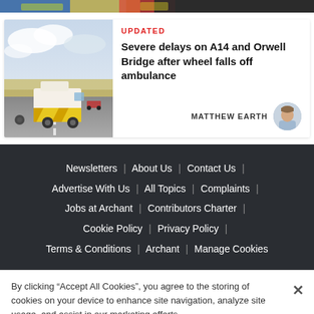[Figure (photo): Top strip with colorful police/emergency scene image, cropped]
[Figure (photo): News card with ambulance photo on UK motorway (A14/Orwell Bridge), cloudy sky background]
UPDATED
Severe delays on A14 and Orwell Bridge after wheel falls off ambulance
MATTHEW EARTH
Newsletters | About Us | Contact Us | Advertise With Us | All Topics | Complaints | Jobs at Archant | Contributors Charter | Cookie Policy | Privacy Policy | Terms & Conditions | Archant | Manage Cookies
By clicking “Accept All Cookies”, you agree to the storing of cookies on your device to enhance site navigation, analyze site usage, and assist in our marketing efforts.